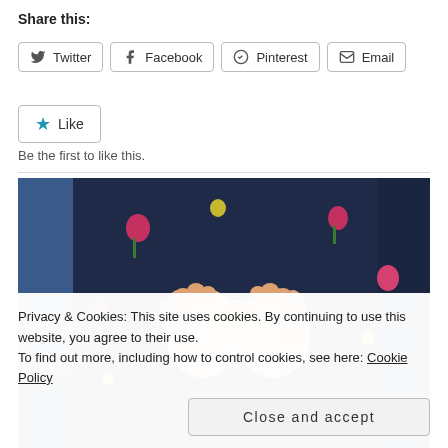Share this:
Twitter
Facebook
Pinterest
Email
Like
Be the first to like this.
[Figure (photo): Close-up photo of a baby's chubby hands holding a small piece of food, wearing a dark floral patterned jacket.]
Privacy & Cookies: This site uses cookies. By continuing to use this website, you agree to their use. To find out more, including how to control cookies, see here: Cookie Policy
Close and accept